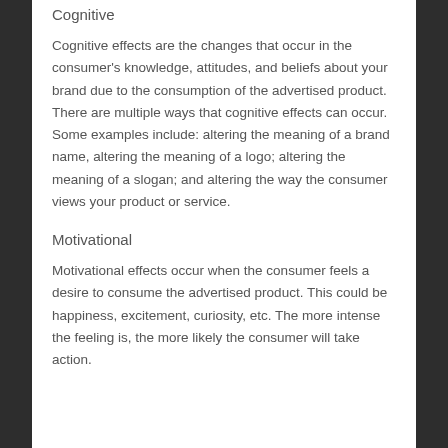Cognitive
Cognitive effects are the changes that occur in the consumer's knowledge, attitudes, and beliefs about your brand due to the consumption of the advertised product. There are multiple ways that cognitive effects can occur. Some examples include: altering the meaning of a brand name, altering the meaning of a logo; altering the meaning of a slogan; and altering the way the consumer views your product or service.
Motivational
Motivational effects occur when the consumer feels a desire to consume the advertised product. This could be happiness, excitement, curiosity, etc. The more intense the feeling is, the more likely the consumer will take action.